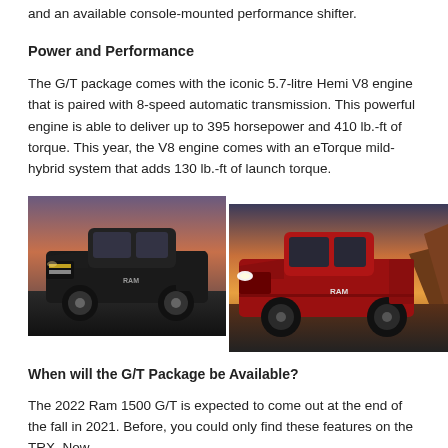and an available console-mounted performance shifter.
Power and Performance
The G/T package comes with the iconic 5.7-litre Hemi V8 engine that is paired with 8-speed automatic transmission. This powerful engine is able to deliver up to 395 horsepower and 410 lb.-ft of torque. This year, the V8 engine comes with an eTorque mild-hybrid system that adds 130 lb.-ft of launch torque.
[Figure (photo): Two RAM 1500 pickup trucks side by side - a black one on the left and a red one on the right, both shown in outdoor settings.]
When will the G/T Package be Available?
The 2022 Ram 1500 G/T is expected to come out at the end of the fall in 2021. Before, you could only find these features on the TRX. Now